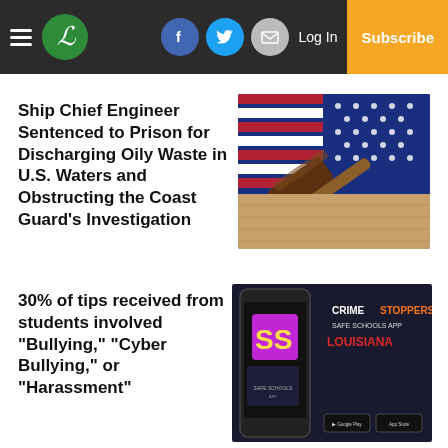Navigation bar with hamburger menu, logo, social icons (Facebook, Twitter, Email), Log In, Subscribe
Ship Chief Engineer Sentenced to Prison for Discharging Oily Waste in U.S. Waters and Obstructing the Coast Guard's Investigation
[Figure (photo): A wooden gavel resting on top of a folded American flag on a wooden surface]
30% of tips received from students involved “Bullying,” “Cyber Bullying,” or “Harassment”
[Figure (screenshot): CrimeStoppers Safe Schools App Louisiana advertisement showing a smartphone with the SS logo and app store download buttons]